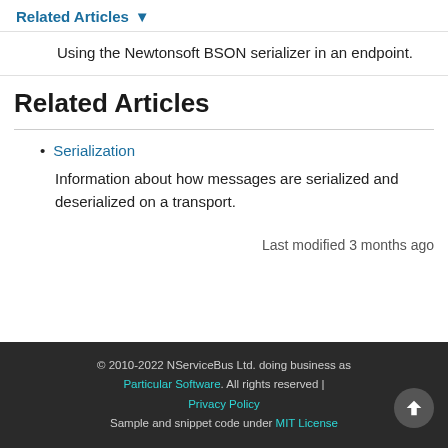Related Articles ▾
Using the Newtonsoft BSON serializer in an endpoint.
Related Articles
Serialization
Information about how messages are serialized and deserialized on a transport.
Last modified 3 months ago
© 2010-2022 NServiceBus Ltd. doing business as Particular Software. All rights reserved | Privacy Policy Sample and snippet code under MIT License